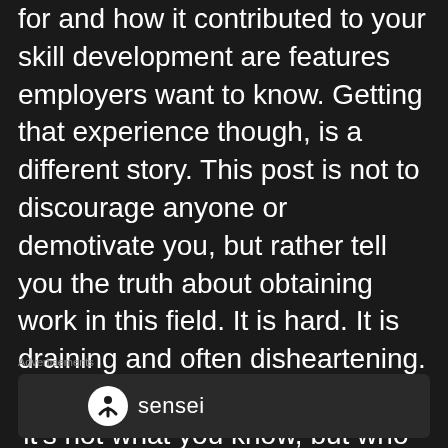for and how it contributed to your skill development are features employers want to know. Getting that experience though, is a different story. This post is not to discourage anyone or demotivate you, but rather tell you the truth about obtaining work in this field. It is hard. It is draining and often disheartening. I always understood the phrase 'it's not what you know, but who you know' but never lived it until the time came to fend for myself.
Advertisements
[Figure (logo): Sensei logo — circular icon with a person/tree symbol and the word 'sensei' in white text on a dark background advertisement box]